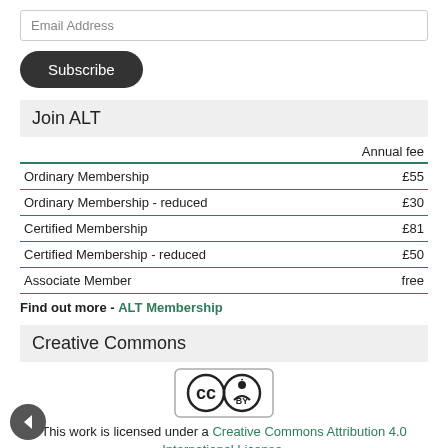Email Address
Subscribe
Join ALT
|  | Annual fee |
| --- | --- |
| Ordinary Membership | £55 |
| Ordinary Membership - reduced | £30 |
| Certified Membership | £81 |
| Certified Membership - reduced | £50 |
| Associate Member | free |
Find out more - ALT Membership
Creative Commons
[Figure (logo): Creative Commons CC BY logo badge]
This work is licensed under a Creative Commons Attribution 4.0 International License.